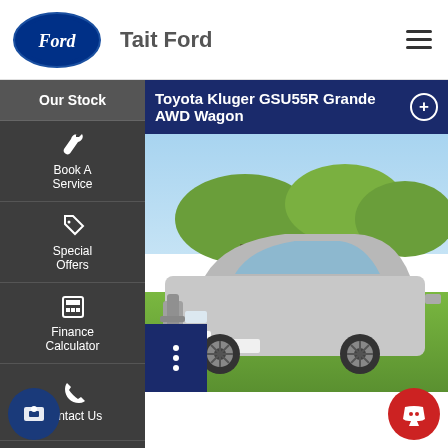[Figure (logo): Ford oval logo in blue and white]
Tait Ford
[Figure (screenshot): Screenshot of Tait Ford dealership website showing navigation sidebar with Our Stock, Book A Service, Special Offers, Finance Calculator, Contact Us items, and a Toyota Kluger GSU55R Grande AWD Wagon listing with vehicle photo]
Toyota Kluger GSU55R Grande AWD Wagon